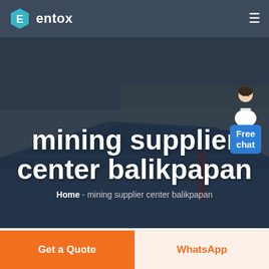entox
[Figure (photo): Aerial view of industrial warehouse buildings with blue roofs, used as hero background image for mining supplier website]
mining supplier center balikpapan
Home  -  mining supplier center balikpapan
Get a Quote
WhatsApp